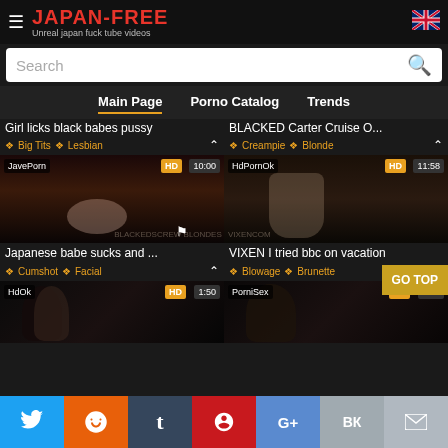JAPAN-FREE — Unreal japan fuck tube videos
Search
Main Page | Porno Catalog | Trends
Girl licks black babes pussy
Big Tits  Lesbian
BLACKED Carter Cruise O...
Creampie  Blonde
[Figure (screenshot): Video thumbnail: JavePorn HD 10:00 — Japanese babe sucks and...]
[Figure (screenshot): Video thumbnail: HdPornOk HD 11:58 — VIXEN I tried bbc on vacation]
Japanese babe sucks and ...
Cumshot  Facial
VIXEN I tried bbc on vacation
Blowage  Brunette
[Figure (screenshot): Video thumbnail: HdOk HD 1:50]
[Figure (screenshot): Video thumbnail: PorniSex HD 6:15]
Twitter Reddit Tumblr Pinterest G+ VK Email